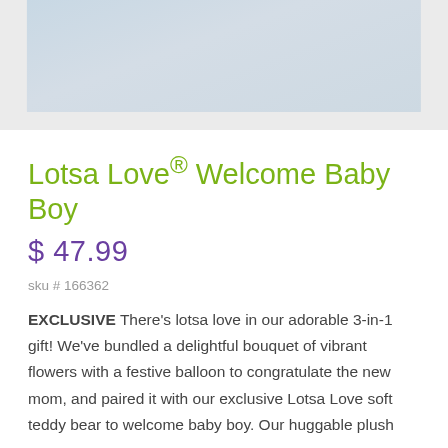[Figure (photo): Partial product photo of baby toy plush items with blue plaid/checkered pattern and orange bear/elephant shapes on a light gray background, cropped at top of page.]
Lotsa Love® Welcome Baby Boy
$ 47.99
sku # 166362
EXCLUSIVE There's lotsa love in our adorable 3-in-1 gift! We've bundled a delightful bouquet of vibrant flowers with a festive balloon to congratulate the new mom, and paired it with our exclusive Lotsa Love soft teddy bear to welcome baby boy. Our huggable plush comes